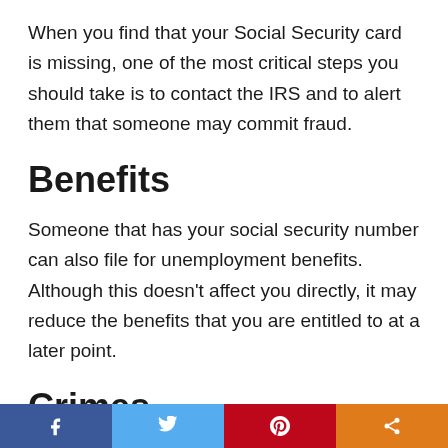When you find that your Social Security card is missing, one of the most critical steps you should take is to contact the IRS and to alert them that someone may commit fraud.
Benefits
Someone that has your social security number can also file for unemployment benefits. Although this doesn’t affect you directly, it may reduce the benefits that you are entitled to at a later point.
Crimes